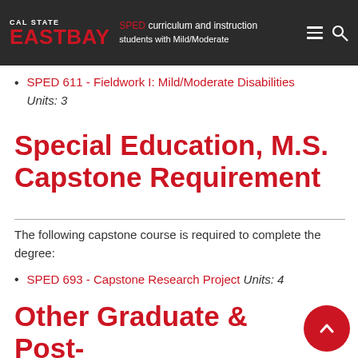Cal State East Bay - navigation bar
Mild/Moderate Disabilities Units: 4
SPED [course] - Curriculum and Instruction [students] with Mild/Moderate Disabilities Units: 4
SPED 611 - Fieldwork I: Mild/Moderate Disabilities Units: 3
Special Education, M.S. Capstone Requirement
The following capstone course is required to complete the degree:
SPED 693 - Capstone Research Project Units: 4
Other Graduate & Post-Baccalaureate Degree